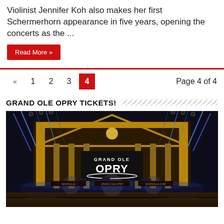Violinist Jennifer Koh also makes her first Schermerhorn appearance in five years, opening the concerts as the ...
Read More »
« 1 2 3 4   Page 4 of 4
GRAND OLE OPRY TICKETS!
[Figure (photo): Grand Ole Opry stage with dramatic blue stage lighting, gold arch structure, and Grand Ole Opry logo sign. Church pew seating visible in the foreground.]